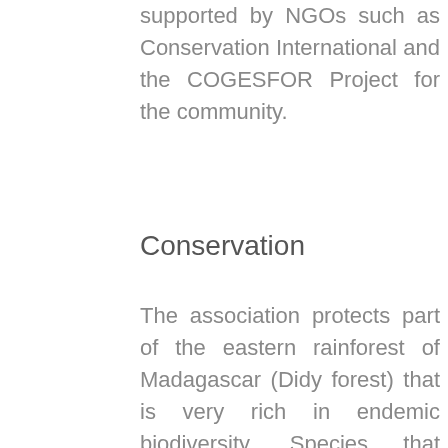supported by NGOs such as Conservation International and the COGESFOR Project for the community.
Conservation
The association protects part of the eastern rainforest of Madagascar (Didy forest) that is very rich in endemic biodiversity. Species that inhabit the area include lemurs such as Propithecus diadema and Prolemur simus, birds such as Lophotibis cristata, trees inclusive of Dalbergia species and Pygeum africanum and many